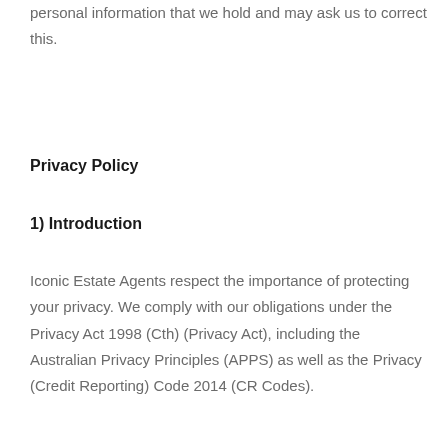personal information that we hold and may ask us to correct this.
Privacy Policy
1) Introduction
Iconic Estate Agents respect the importance of protecting your privacy. We comply with our obligations under the Privacy Act 1998 (Cth) (Privacy Act), including the Australian Privacy Principles (APPS) as well as the Privacy (Credit Reporting) Code 2014 (CR Codes).